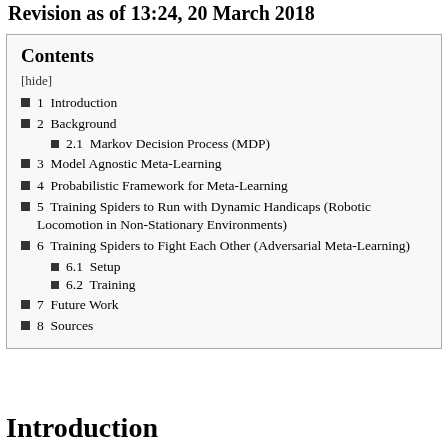Revision as of 13:24, 20 March 2018
Contents
[hide]
1  Introduction
2  Background
2.1  Markov Decision Process (MDP)
3  Model Agnostic Meta-Learning
4  Probabilistic Framework for Meta-Learning
5  Training Spiders to Run with Dynamic Handicaps (Robotic Locomotion in Non-Stationary Environments)
6  Training Spiders to Fight Each Other (Adversarial Meta-Learning)
6.1  Setup
6.2  Training
7  Future Work
8  Sources
Introduction